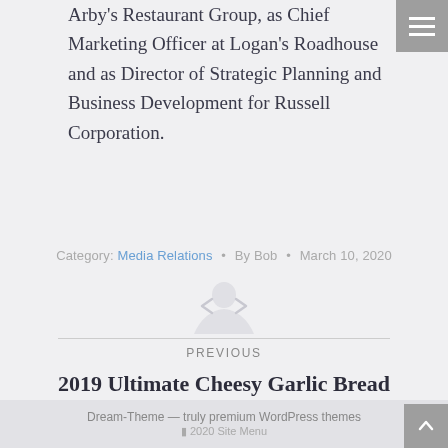Arby's Restaurant Group, as Chief Marketing Officer at Logan's Roadhouse and as Director of Strategic Planning and Business Development for Russell Corporation.
Category: Media Relations • By Bob • March 10, 2020
PREVIOUS
2019 Ultimate Cheesy Garlic Bread Returns
Dream-Theme — truly premium WordPress themes
2020 Site Menu